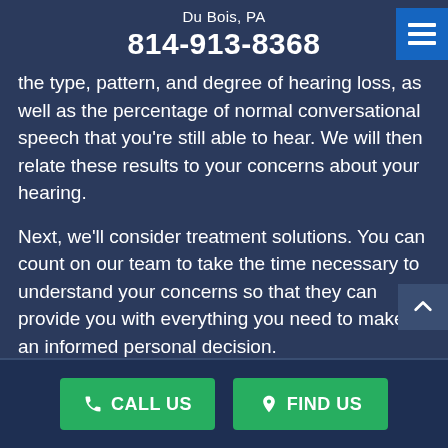Du Bois, PA
814-913-8368
the type, pattern, and degree of hearing loss, as well as the percentage of normal conversational speech that you're still able to hear. We will then relate these results to your concerns about your hearing.
Next, we'll consider treatment solutions. You can count on our team to take the time necessary to understand your concerns so that they can provide you with everything you need to make an informed personal decision.
CALL US   FIND US